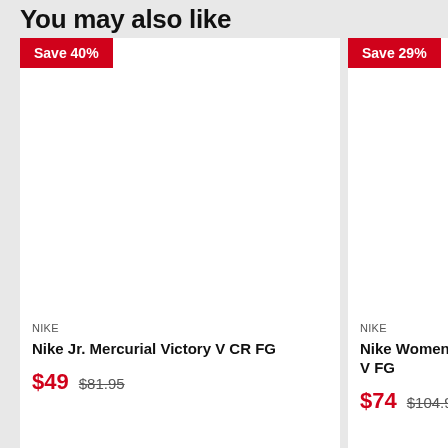You may also like
Save 40%
[Figure (photo): Product image area for Nike Jr. Mercurial Victory V CR FG (blank white space)]
NIKE
Nike Jr. Mercurial Victory V CR FG
$49  $81.95
Save 29%
[Figure (photo): Product image area for Nike Women's Mercurial Victory V FG (blank white space)]
NIKE
Nike Women's Me... V FG
$74  $104.95